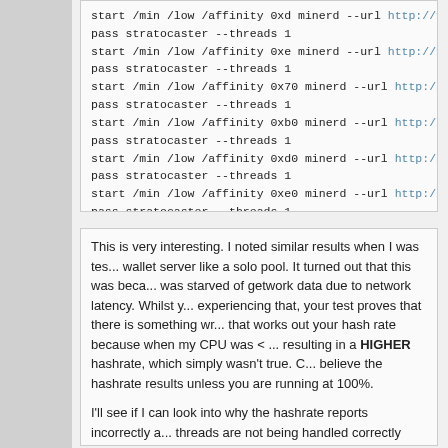start /min /low /affinity 0xd minerd --url http://127.0.0.1:823...
pass stratocaster --threads 1
start /min /low /affinity 0xe minerd --url http://127.0.0.1:823...
pass stratocaster --threads 1
start /min /low /affinity 0x70 minerd --url http://127.0.0.1:82...
pass stratocaster --threads 1
start /min /low /affinity 0xb0 minerd --url http://127.0.0.1:82...
pass stratocaster --threads 1
start /min /low /affinity 0xd0 minerd --url http://127.0.0.1:82...
pass stratocaster --threads 1
start /min /low /affinity 0xe0 minerd --url http://127.0.0.1:82...
pass stratocaster --threads 1

Hope this helps. Any kind donations for the tip here to XMO... 9EQ342ssXSxmpDURs6XNxAajB14DQzJDNX please.
This is very interesting. I noted similar results when I was testing... wallet server like a solo pool. It turned out that this was because it was starved of getwork data due to network latency. Whilst you are experiencing that, your test proves that there is something wrong that works out your hash rate because when my CPU was < ... resulting in a HIGHER hashrate, which simply wasn't true. C... believe the hashrate results unless you are running at 100%.

I'll see if I can look into why the hashrate reports incorrectly and threads are not being handled correctly (which again might be due to the hashrate not reporting the true value)